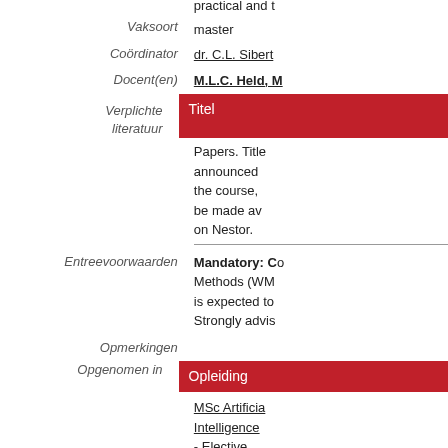practical and t...
Vaksoort: master
Coördinator: dr. C.L. Sibert...
Docent(en): M.L.C. Held, M...
Verplichte literatuur
Titel
Papers. Title... announced... the course,... be made av... on Nestor.
Entreevoorwaarden: Mandatory: Co... Methods (WM... is expected to... Strongly advis...
Opmerkingen
Opgenomen in
Opleiding
MSc Artificial Intelligence - Elective Course Unit...
MSc Behavioural...